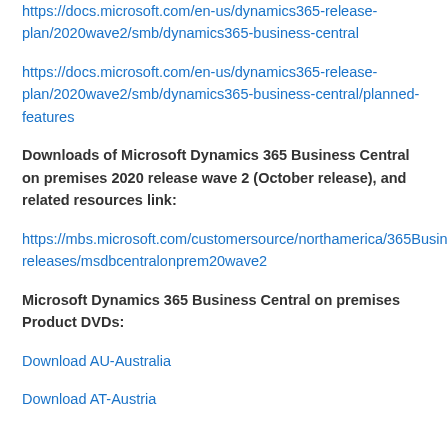https://docs.microsoft.com/en-us/dynamics365-release-plan/2020wave2/smb/dynamics365-business-central
https://docs.microsoft.com/en-us/dynamics365-release-plan/2020wave2/smb/dynamics365-business-central/planned-features
Downloads of Microsoft Dynamics 365 Business Central on premises 2020 release wave 2 (October release), and related resources link:
https://mbs.microsoft.com/customersource/northamerica/365Business/downloads/product-releases/msdbcentralonprem20wave2
Microsoft Dynamics 365 Business Central on premises Product DVDs:
Download AU-Australia
Download AT-Austria